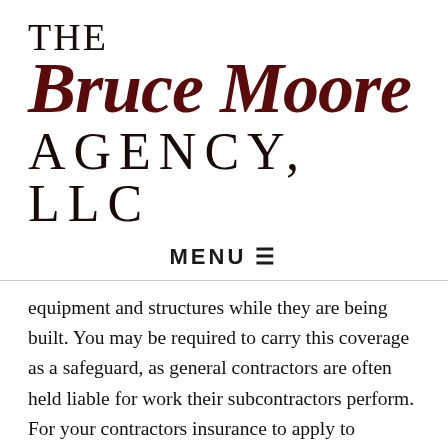[Figure (logo): The Bruce Moore Agency, LLC logo with 'THE' in serif, 'Bruce Moore' in dark red italic script, and 'AGENCY, LLC' in large serif capitals]
MENU ☰
equipment and structures while they are being built. You may be required to carry this coverage as a safeguard, as general contractors are often held liable for work their subcontractors perform. For your contractors insurance to apply to damage caused to a construction project, the incident must have occurred at a covered location (typically the